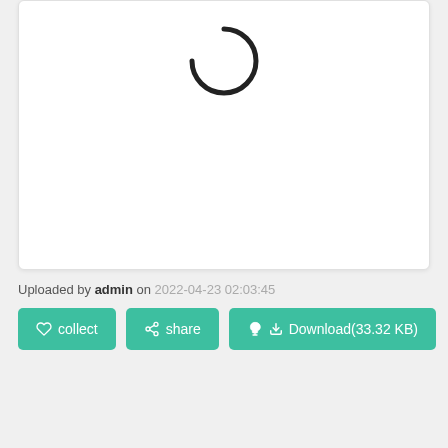[Figure (other): White card area with a loading spinner (partial circle arc) visible at the top center]
Uploaded by admin on 2022-04-23 02:03:45
collect  share  Download(33.32 KB)